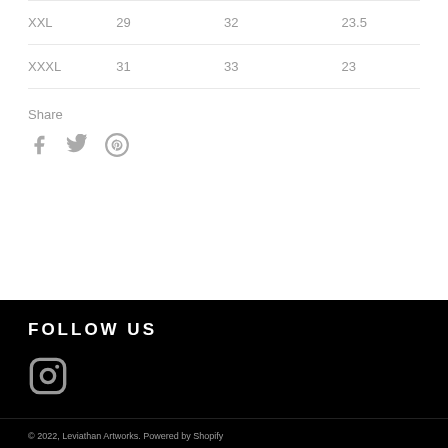| XXL | 29 | 32 | 23.5 |
| XXXL | 31 | 33 | 23 |
Share
[Figure (other): Social share icons: Facebook, Twitter, Pinterest]
FOLLOW US
[Figure (other): Instagram icon]
© 2022, Leviathan Artworks. Powered by Shopify